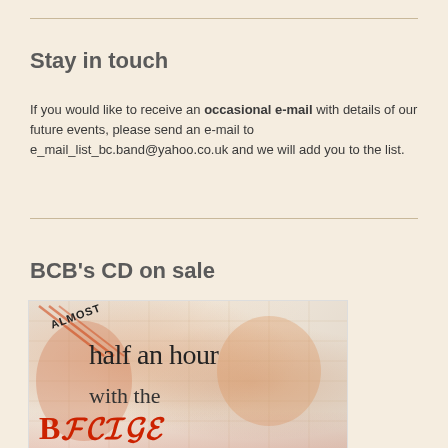Stay in touch
If you would like to receive an occasional e-mail with details of our future events, please send an e-mail to e_mail_list_bc.band@yahoo.co.uk and we will add you to the list.
BCB's CD on sale
[Figure (photo): CD cover image showing 'almost half an hour with the' text over a watercolor-style background with grid lines]